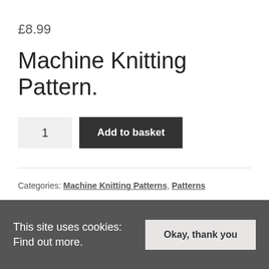£8.99
Machine Knitting Pattern.
1  Add to basket
Categories: Machine Knitting Patterns, Patterns
Tags: jacket, machine knitting, poncho, shawls, tassel
This site uses cookies: Find out more.  Okay, thank you